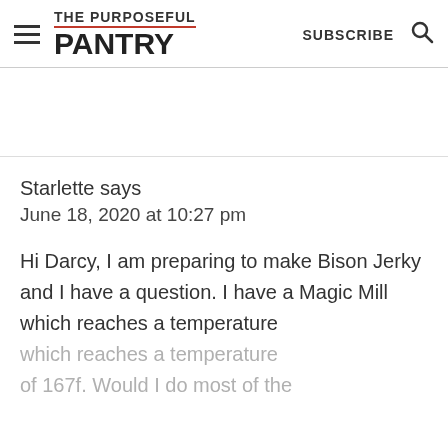THE PURPOSEFUL PANTRY | SUBSCRIBE
Starlette says
June 18, 2020 at 10:27 pm
Hi Darcy, I am preparing to make Bison Jerky and I have a question. I have a Magic Mill which reaches a temperature of 167f. Would I do most of the